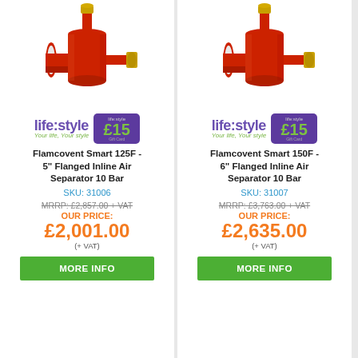[Figure (photo): Red Flamcovent Smart 125F flanged inline air separator product photo]
[Figure (logo): life:style brand logo with tagline 'Your life, Your style' and £15 gift card badge]
Flamcovent Smart 125F - 5" Flanged Inline Air Separator 10 Bar
SKU: 31006
MRRP: £2,857.00 + VAT
OUR PRICE:
£2,001.00
(+ VAT)
MORE INFO
[Figure (photo): Red Flamcovent Smart 150F flanged inline air separator product photo]
[Figure (logo): life:style brand logo with tagline 'Your life, Your style' and £15 gift card badge]
Flamcovent Smart 150F - 6" Flanged Inline Air Separator 10 Bar
SKU: 31007
MRRP: £3,763.00 + VAT
OUR PRICE:
£2,635.00
(+ VAT)
MORE INFO